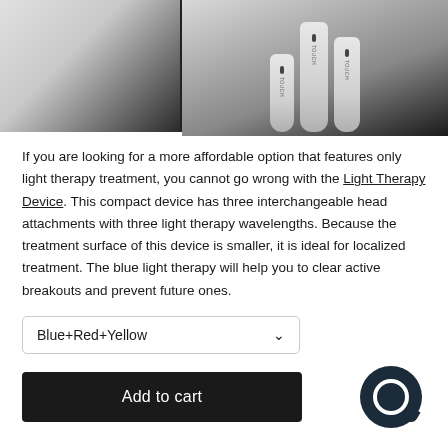[Figure (photo): Two product photos side by side: left shows a soft-lit white surface, right shows three white light therapy device sticks standing upright against a dark background with 'TOUCH' branding visible.]
If you are looking for a more affordable option that features only light therapy treatment, you cannot go wrong with the Light Therapy Device. This compact device has three interchangeable head attachments with three light therapy wavelengths. Because the treatment surface of this device is smaller, it is ideal for localized treatment. The blue light therapy will help you to clear active breakouts and prevent future ones.
Blue+Red+Yellow
Add to cart